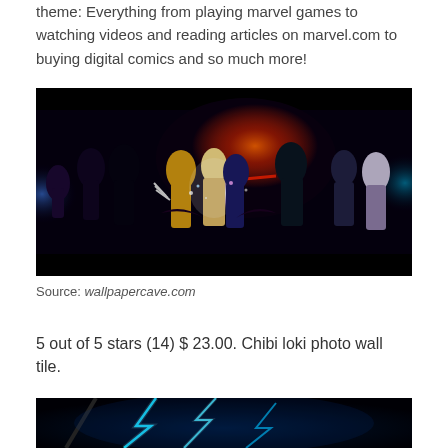theme: Everything from playing marvel games to watching videos and reading articles on marvel.com to buying digital comics and so much more!
[Figure (illustration): Marvel superhero illustration showing a large group of Marvel characters including Wolverine, X-Men, and other heroes in a dramatic battle scene with fire and lightning effects against a dark background.]
Source: wallpapercave.com
5 out of 5 stars (14) $ 23.00. Chibi loki photo wall tile.
[Figure (illustration): Partial view of a dark illustration with lightning/electric effects in blue and cyan tones, appears to be bottom of page cut off.]